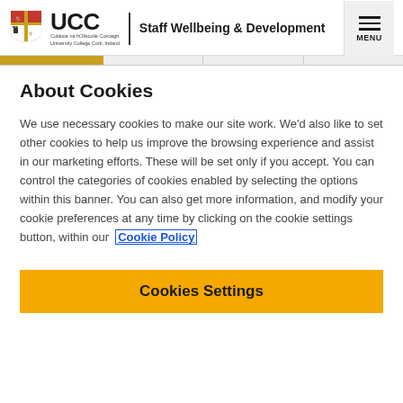UCC | Staff Wellbeing & Development
About Cookies
We use necessary cookies to make our site work. We'd also like to set other cookies to help us improve the browsing experience and assist in our marketing efforts. These will be set only if you accept. You can control the categories of cookies enabled by selecting the options within this banner. You can also get more information, and modify your cookie preferences at any time by clicking on the cookie settings button, within our Cookie Policy
Cookies Settings